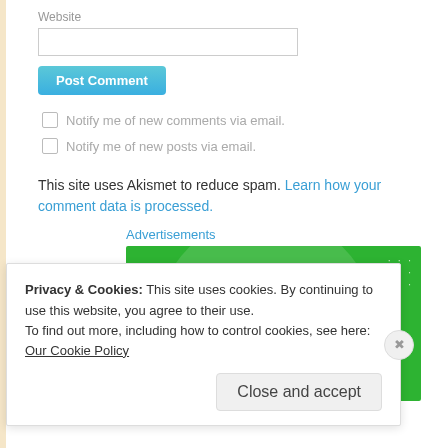Website
Post Comment
Notify me of new comments via email.
Notify me of new posts via email.
This site uses Akismet to reduce spam. Learn how your comment data is processed.
Advertisements
[Figure (logo): Jetpack advertisement banner on green background with circular design and white Jetpack logo]
Privacy & Cookies: This site uses cookies. By continuing to use this website, you agree to their use.
To find out more, including how to control cookies, see here: Our Cookie Policy
Close and accept